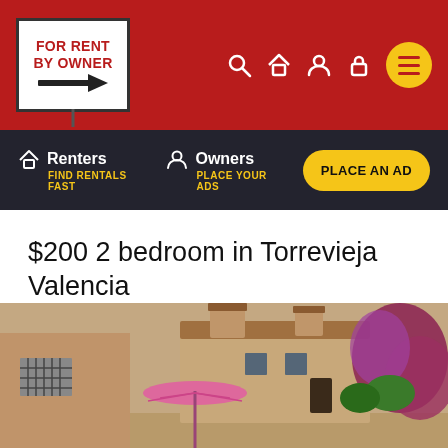[Figure (logo): For Rent By Owner logo with red text and arrow on white background in red header bar]
$200 2 bedroom in Torrevieja Valencia
[Figure (photo): Exterior photo of a Spanish-style villa with terracotta roof, pink umbrella in foreground, purple bougainvillea on right, sandy-colored walls]